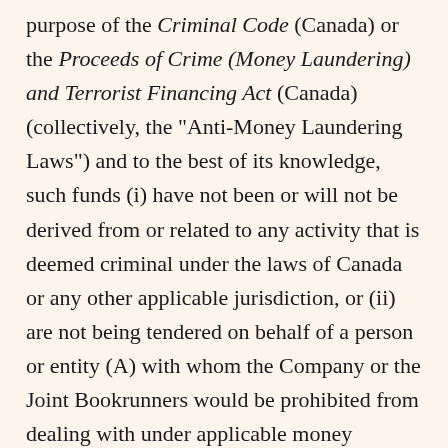purpose of the Criminal Code (Canada) or the Proceeds of Crime (Money Laundering) and Terrorist Financing Act (Canada) (collectively, the "Anti-Money Laundering Laws") and to the best of its knowledge, such funds (i) have not been or will not be derived from or related to any activity that is deemed criminal under the laws of Canada or any other applicable jurisdiction, or (ii) are not being tendered on behalf of a person or entity (A) with whom the Company or the Joint Bookrunners would be prohibited from dealing with under applicable money laundering, terrorist financing, economic sanctions, criminal or other similar laws or regulations or (B) who has not been identified to it;
(h)        it is not a person or entity identified on a list established under any Anti-Money Laundering Laws